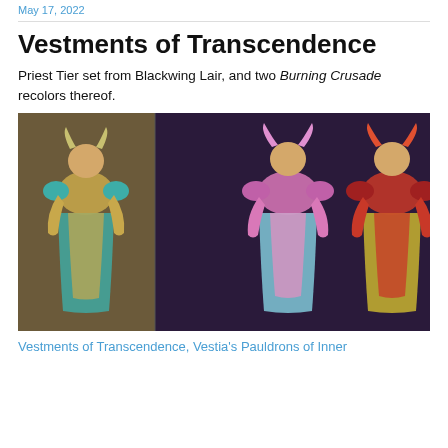May 17, 2022
Vestments of Transcendence
Priest Tier set from Blackwing Lair, and two Burning Crusade recolors thereof.
[Figure (photo): Three World of Warcraft character models wearing priest armor sets: left character in gold/teal Vestments of Transcendence on a brown background, center and right characters in pink/purple and red/orange recolor versions on a purple background.]
Vestments of Transcendence, Vestia's Pauldrons of Inner